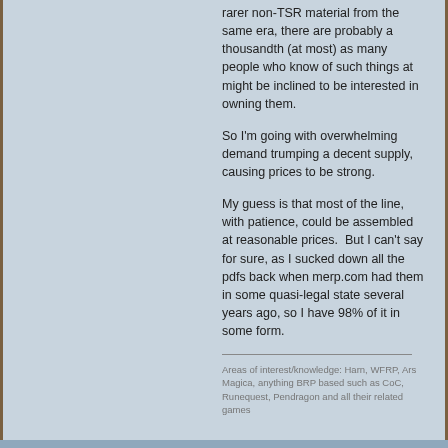rarer non-TSR material from the same era, there are probably a thousandth (at most) as many people who know of such things at might be inclined to be interested in owning them.
So I'm going with overwhelming demand trumping a decent supply, causing prices to be strong.
My guess is that most of the line, with patience, could be assembled at reasonable prices.  But I can't say for sure, as I sucked down all the pdfs back when merp.com had them in some quasi-legal state several years ago, so I have 98% of it in some form.
Areas of interest/knowledge: Harn, WFRP, Ars Magica, anything BRP based such as CoC, Runequest, Pendragon and all their related games